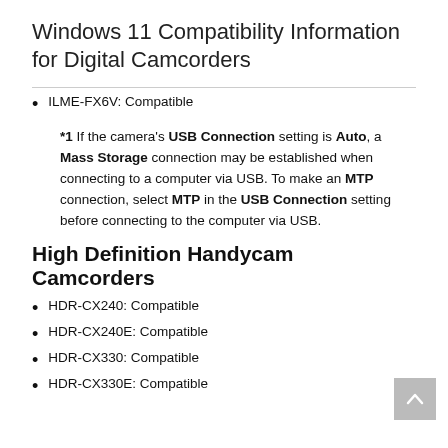Windows 11 Compatibility Information for Digital Camcorders
ILME-FX6V: Compatible
*1 If the camera's USB Connection setting is Auto, a Mass Storage connection may be established when connecting to a computer via USB. To make an MTP connection, select MTP in the USB Connection setting before connecting to the computer via USB.
High Definition Handycam Camcorders
HDR-CX240: Compatible
HDR-CX240E: Compatible
HDR-CX330: Compatible
HDR-CX330E: Compatible